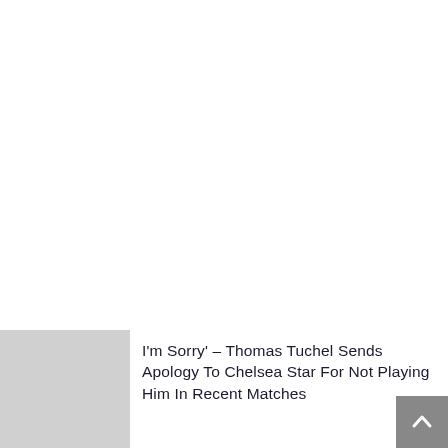[Figure (photo): Thumbnail image placeholder (grey rectangle) for the article]
I'm Sorry' – Thomas Tuchel Sends Apology To Chelsea Star For Not Playing Him In Recent Matches